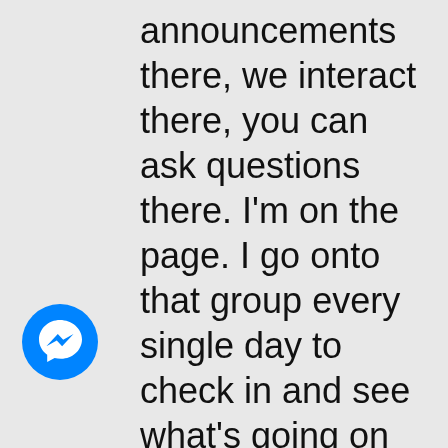announcements there, we interact there, you can ask questions there. I'm on the page. I go onto that group every single day to check in and see what's going on with folks. So, really delightful community and I'm really glad for the folks that are a part of that. And then the Facebook page is just
[Figure (logo): Facebook Messenger icon — blue circle with white lightning-bolt chat bubble]